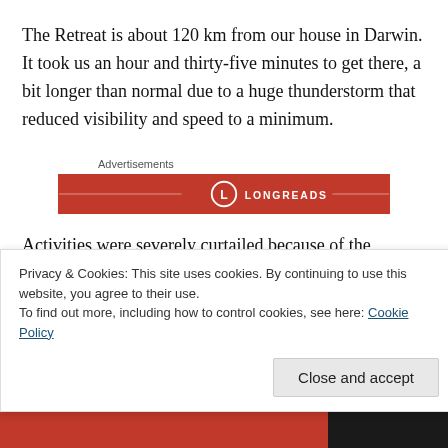The Retreat is about 120 km from our house in Darwin. It took us an hour and thirty-five minutes to get there, a bit longer than normal due to a huge thunderstorm that reduced visibility and speed to a minimum.
Advertisements
[Figure (logo): Longreads red banner advertisement with white logo text and circle icon]
Activities were severely curtailed because of the weather and the presence of crocs. It’s the Wet Season, so all of
Privacy & Cookies: This site uses cookies. By continuing to use this website, you agree to their use.
To find out more, including how to control cookies, see here: Cookie Policy
Close and accept